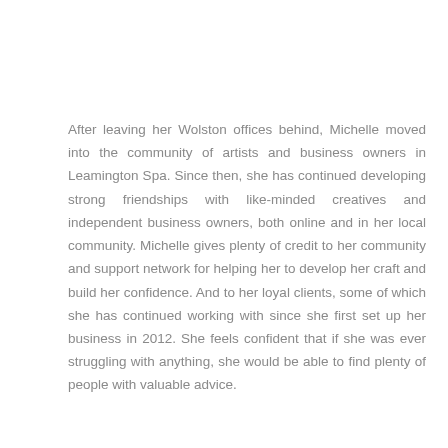After leaving her Wolston offices behind, Michelle moved into the community of artists and business owners in Leamington Spa. Since then, she has continued developing strong friendships with like-minded creatives and independent business owners, both online and in her local community. Michelle gives plenty of credit to her community and support network for helping her to develop her craft and build her confidence. And to her loyal clients, some of which she has continued working with since she first set up her business in 2012. She feels confident that if she was ever struggling with anything, she would be able to find plenty of people with valuable advice.